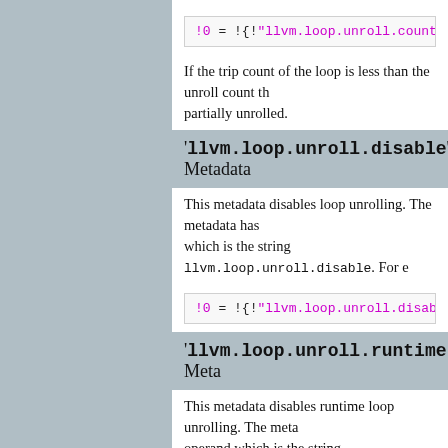!0 = !{!"llvm.loop.unroll.count", i32 4}
If the trip count of the loop is less than the unroll count th partially unrolled.
'llvm.loop.unroll.disable' Metadata
This metadata disables loop unrolling. The metadata has which is the string llvm.loop.unroll.disable. For e
!0 = !{!"llvm.loop.unroll.disable"}
'llvm.loop.unroll.runtime.disable' Meta
This metadata disables runtime loop unrolling. The meta operand which is the string llvm.loop.unroll.runti example:
!0 = !{!"llvm.loop.unroll.runtime.disable"}
'llvm.loop.unroll.enable' Metadata